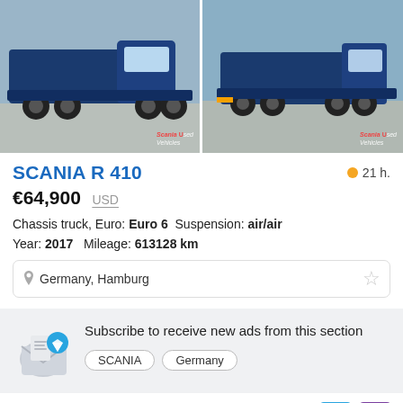[Figure (photo): Two blue Scania R 410 chassis trucks photographed from the side in a yard, with Scania Used Vehicles watermarks]
SCANIA R 410
21 h.
€64,900  USD
Chassis truck, Euro: Euro 6  Suspension: air/air
Year: 2017  Mileage: 613128 km
Germany, Hamburg
Subscribe to receive new ads from this section
SCANIA  Germany
Enter your e-mail addres:  Subscribe